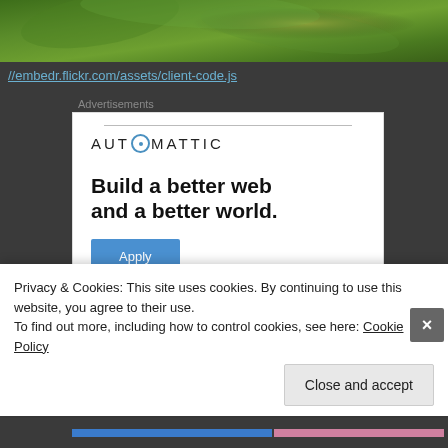[Figure (photo): Green leafy plant with blurred background at the top of page]
//embedr.flickr.com/assets/client-code.js
Advertisements
[Figure (other): Automattic advertisement banner: 'Build a better web and a better world.' with Apply button and photo of person]
Privacy & Cookies: This site uses cookies. By continuing to use this website, you agree to their use.
To find out more, including how to control cookies, see here: Cookie Policy
Close and accept